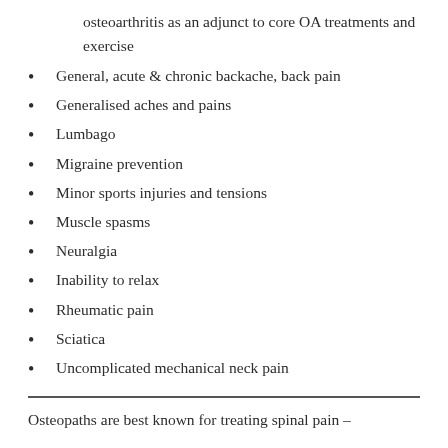osteoarthritis as an adjunct to core OA treatments and exercise
General, acute & chronic backache, back pain
Generalised aches and pains
Lumbago
Migraine prevention
Minor sports injuries and tensions
Muscle spasms
Neuralgia
Inability to relax
Rheumatic pain
Sciatica
Uncomplicated mechanical neck pain
Osteopaths are best known for treating spinal pain –